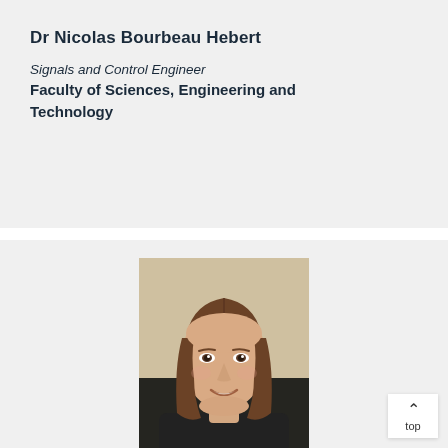Dr Nicolas Bourbeau Hebert
Signals and Control Engineer
Faculty of Sciences, Engineering and Technology
[Figure (photo): Headshot photo of a young woman with long brown hair, smiling, wearing a dark top, against a neutral beige background.]